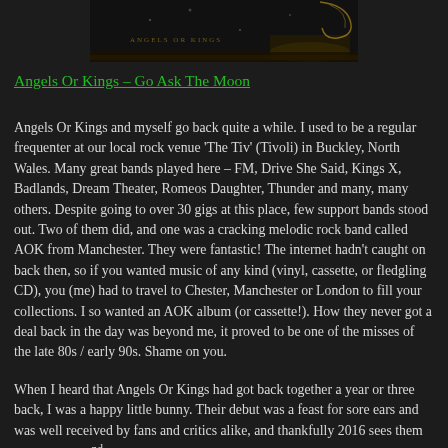[Figure (photo): Partial view of the Angels Or Kings 'Go Ask The Moon' album cover showing dark background with artistic elements]
Angels Or Kings – Go Ask The Moon
Angels Or Kings and myself go back quite a while. I used to be a regular frequenter at our local rock venue 'The Tiv' (Tivoli) in Buckley, North Wales. Many great bands played here – FM, Drive She Said, Kings X, Badlands, Dream Theater, Romeos Daughter, Thunder and many, many others. Despite going to over 30 gigs at this place, few support bands stood out. Two of them did, and one was a cracking melodic rock band called AOK from Manchester. They were fantastic! The internet hadn't caught on back then, so if you wanted music of any kind (vinyl, cassette, or fledgling CD), you (me) had to travel to Chester, Manchester or London to fill your collections. I so wanted an AOK album (or cassette!). How they never got a deal back in the day was beyond me, it proved to be one of the misses of the late 80s / early 90s. Shame on you.
When I heard that Angels Or Kings had got back together a year or three back, I was a happy little bunny. Their debut was a feast for sore ears and was well received by fans and critics alike, and thankfully 2016 sees them release their 2nd album 'Go Ask The Moon'. A lot of bands